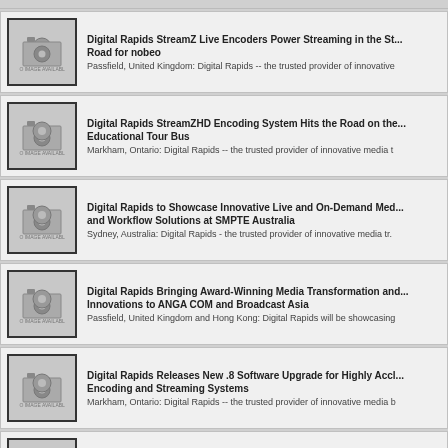Digital Rapids StreamZ Live Encoders Power Streaming in the Studio and on the Road for nobeo — Passfield, United Kingdom: Digital Rapids -- the trusted provider of innovative
Digital Rapids StreamZHD Encoding System Hits the Road on the Educational Tour Bus — Markham, Ontario: Digital Rapids -- the trusted provider of innovative media t
Digital Rapids to Showcase Innovative Live and On-Demand Med and Workflow Solutions at SMPTE Australia — Sydney, Australia: Digital Rapids - the trusted provider of innovative media tr.
Digital Rapids Bringing Award-Winning Media Transformation and Innovations to ANGA COM and Broadcast Asia — Passfield, United Kingdom and Hong Kong: Digital Rapids will be showcasing
Digital Rapids Releases New .8 Software Upgrade for Highly Accl Encoding and Streaming Systems — Markham, Ontario: Digital Rapids -- the trusted provider of innovative media b
Digital Rapids Wins TV Technology STAR Award for StreamZ Live and Multiscreen Encoder — Markham, Ontario: Digital Rapids -- the trusted provider of innovative media b
Digital Rapids Showcases Strong Partnerships and Expanding Ec